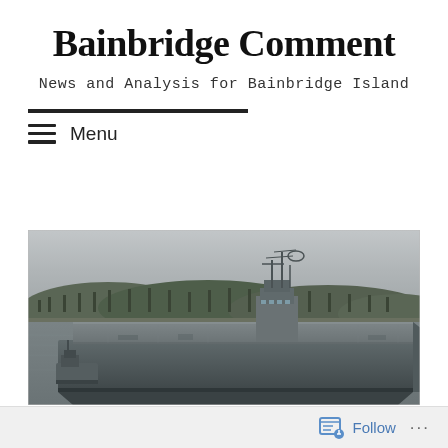Bainbridge Comment
News and Analysis for Bainbridge Island
Menu
[Figure (photo): A large aircraft carrier ship on water with forested hills in the background, in overcast/gray weather. A smaller tugboat is visible near the bow of the carrier.]
Follow ...